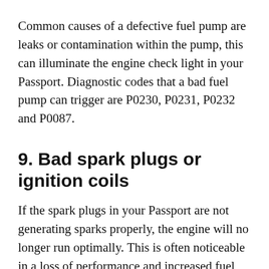Common causes of a defective fuel pump are leaks or contamination within the pump, this can illuminate the engine check light in your Passport. Diagnostic codes that a bad fuel pump can trigger are P0230, P0231, P0232 and P0087.
9. Bad spark plugs or ignition coils
If the spark plugs in your Passport are not generating sparks properly, the engine will no longer run optimally. This is often noticeable in a loss of performance and increased fuel consumption. You may also notice that the engine is not running